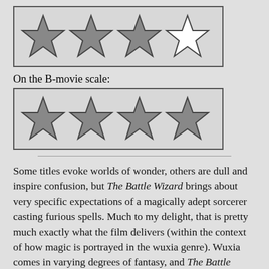[Figure (other): Star rating widget showing 3 filled/shaded stars and 1 empty/outline star out of 4 stars total, in a bordered box]
On the B-movie scale:
[Figure (other): Star rating widget showing 4 filled/shaded stars out of 4 stars total, in a bordered box]
Some titles evoke worlds of wonder, others are dull and inspire confusion, but The Battle Wizard brings about very specific expectations of a magically adept sorcerer casting furious spells. Much to my delight, that is pretty much exactly what the film delivers (within the context of how magic is portrayed in the wuxia genre). Wuxia comes in varying degrees of fantasy, and The Battle